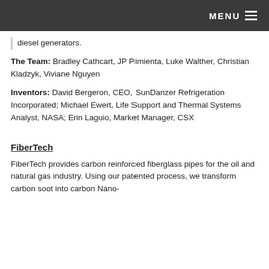MENU
diesel generators.
The Team: Bradley Cathcart, JP Pimienta, Luke Walther, Christian Kladzyk, Viviane Nguyen
Inventors: David Bergeron, CEO, SunDanzer Refrigeration Incorporated; Michael Ewert, Life Support and Thermal Systems Analyst, NASA; Erin Laguio, Market Manager, CSX
FiberTech
FiberTech provides carbon reinforced fiberglass pipes for the oil and natural gas industry. Using our patented process, we transform carbon soot into carbon Nano-